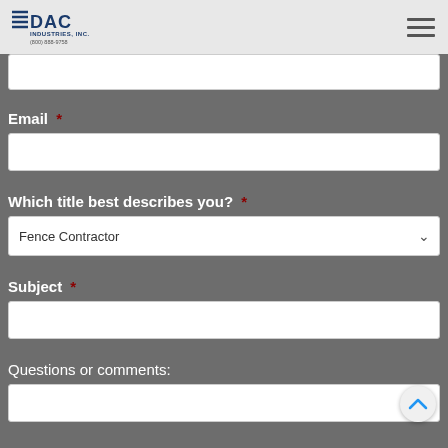DAC Industries, Inc. (800) 888-9758
Email *
Which title best describes you? *
Fence Contractor
Subject *
Questions or comments: